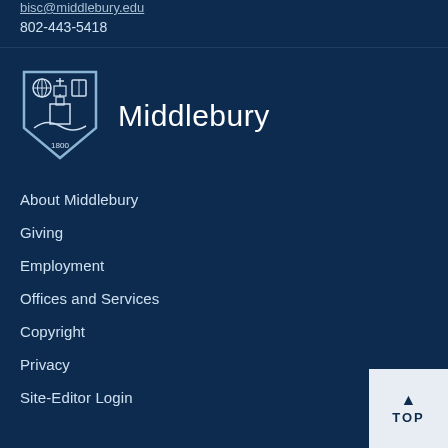bisc@middlebury.edu
802-443-5418
[Figure (logo): Middlebury College shield logo with globe, building, and book icons, established 1800, with 'Middlebury' text]
About Middlebury
Giving
Employment
Offices and Services
Copyright
Privacy
Site-Editor Login